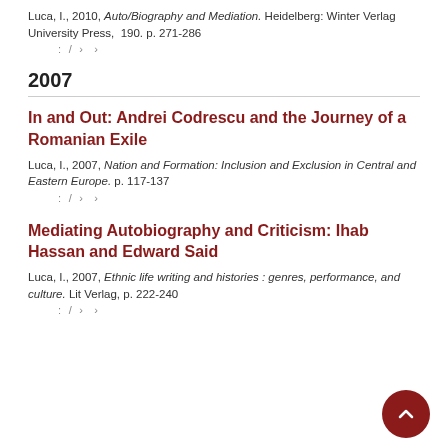Luca, I., 2010, Auto/Biography and Mediation. Heidelberg: Winter Verlag University Press, 190. p. 271-286
: / › ›
2007
In and Out: Andrei Codrescu and the Journey of a Romanian Exile
Luca, I., 2007, Nation and Formation: Inclusion and Exclusion in Central and Eastern Europe. p. 117-137
: / › ›
Mediating Autobiography and Criticism: Ihab Hassan and Edward Said
Luca, I., 2007, Ethnic life writing and histories : genres, performance, and culture. Lit Verlag, p. 222-240
: / › ›